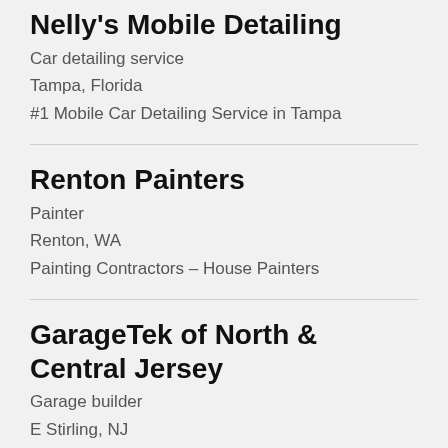Nelly's Mobile Detailing
Car detailing service
Tampa, Florida
#1 Mobile Car Detailing Service in Tampa
Renton Painters
Painter
Renton, WA
Painting Contractors – House Painters
GarageTek of North & Central Jersey
Garage builder
E Stirling, NJ